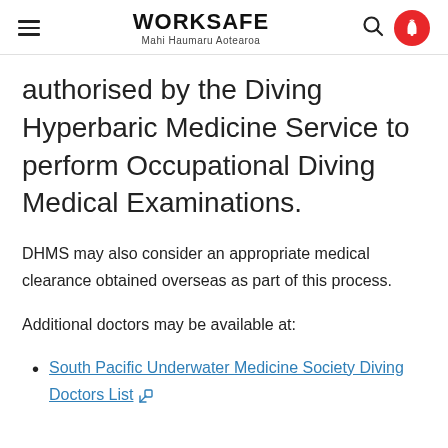WORKSAFE Mahi Haumaru Aotearoa
authorised by the Diving Hyperbaric Medicine Service to perform Occupational Diving Medical Examinations.
DHMS may also consider an appropriate medical clearance obtained overseas as part of this process.
Additional doctors may be available at:
South Pacific Underwater Medicine Society Diving Doctors List